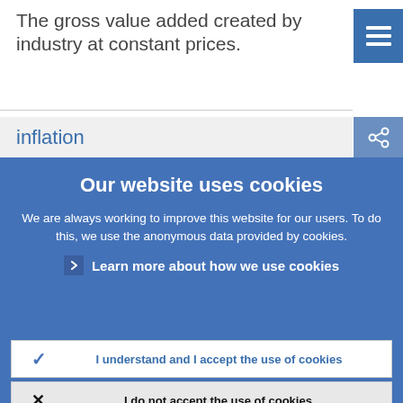The gross value added created by industry at constant prices.
inflation
Our website uses cookies
We are always working to improve this website for our users. To do this, we use the anonymous data provided by cookies.
Learn more about how we use cookies
I understand and I accept the use of cookies
I do not accept the use of cookies